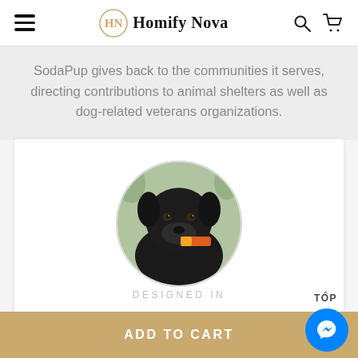Homify Nova
SodaPup gives back to the communities it serves, directing contributions to animal shelters as well as dog-related veterans organizations.
[Figure (photo): Circular photo of a black Labrador dog holding a colorful toy/treat in its mouth, shown against a blurred outdoor background.]
DESIGNED IN
ADD TO CART